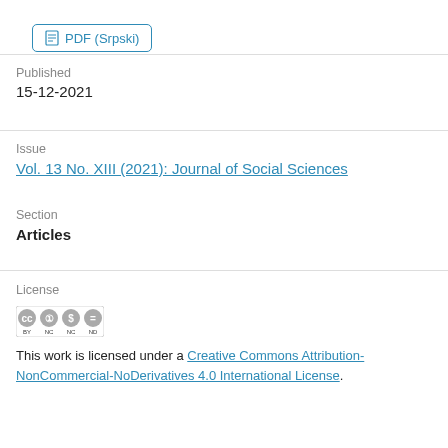PDF (Srpski)
Published
15-12-2021
Issue
Vol. 13 No. XIII (2021): Journal of Social Sciences
Section
Articles
License
[Figure (logo): Creative Commons Attribution-NonCommercial-NoDerivatives license badge]
This work is licensed under a Creative Commons Attribution-NonCommercial-NoDerivatives 4.0 International License.